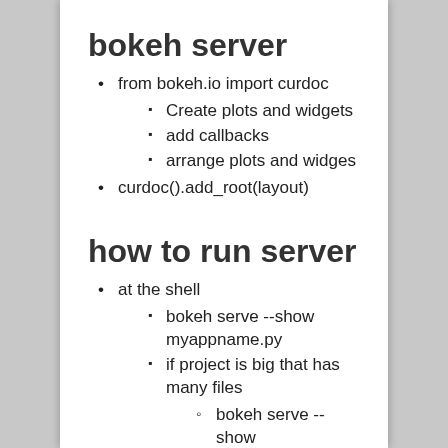bokeh server
from bokeh.io import curdoc
Create plots and widgets
add callbacks
arrange plots and widges
curdoc().add_root(layout)
how to run server
at the shell
bokeh serve --show myappname.py
if project is big that has many files
bokeh serve --show myappnamedir/